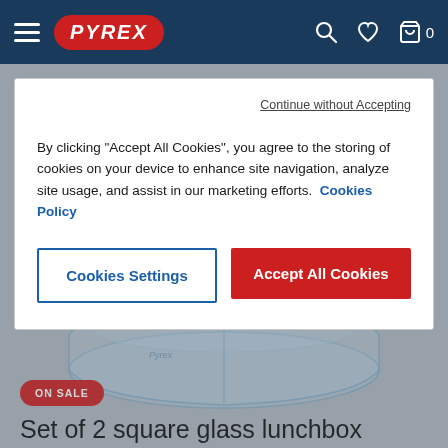PYREX
[Figure (screenshot): Cookie consent modal overlay on Pyrex product page showing a glass lunchbox product in background with a cookie consent dialog in the foreground]
Continue without Accepting
By clicking “Accept All Cookies”, you agree to the storing of cookies on your device to enhance site navigation, analyze site usage, and assist in our marketing efforts.  Cookies Policy
Cookies Settings
Accept All Cookies
ON SALE
Set of 2 square glass lunchbox